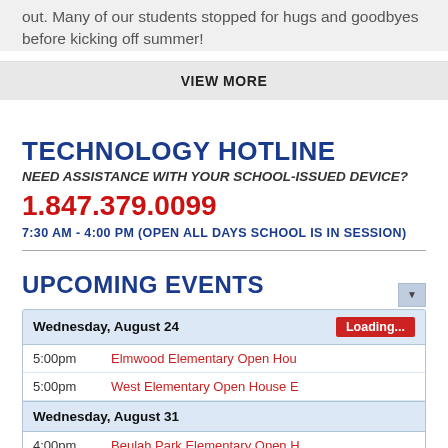out. Many of our students stopped for hugs and goodbyes before kicking off summer!
VIEW MORE
TECHNOLOGY HOTLINE
NEED ASSISTANCE WITH YOUR SCHOOL-ISSUED DEVICE?
1.847.379.0099
7:30 AM - 4:00 PM (OPEN ALL DAYS SCHOOL IS IN SESSION)
UPCOMING EVENTS
| Date/Time | Event |
| --- | --- |
| Wednesday, August 24 |  |
| 5:00pm | Elmwood Elementary Open Hou |
| 5:00pm | West Elementary Open House E |
| Wednesday, August 31 |  |
| 4:00pm | Beulah Park Elementary Open H |